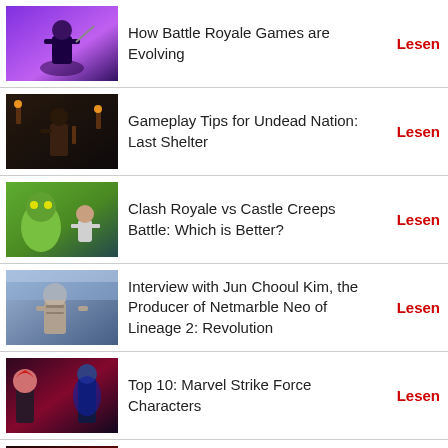How Battle Royale Games are Evolving | Lesen
Gameplay Tips for Undead Nation: Last Shelter | Lesen
Clash Royale vs Castle Creeps Battle: Which is Better? | Lesen
Interview with Jun Chooul Kim, the Producer of Netmarble Neo of Lineage 2: Revolution | Lesen
Top 10: Marvel Strike Force Characters | Lesen
Tips & Tricks: MARVEL Strike Force | Lesen
PUBG: Getting into the Safe Zone | Lesen
Simple PUBG Tips and Tricks to Survive the Chicken Dinner | Lesen